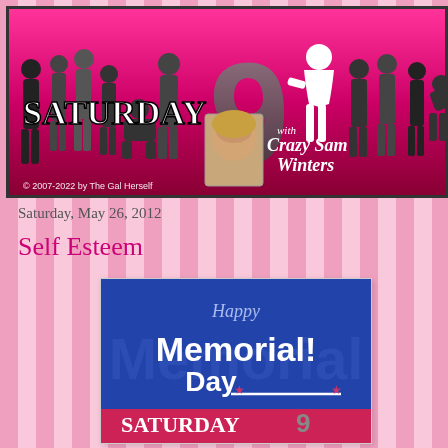[Figure (illustration): Saturday 9 blog header banner with silhouettes of people on a pink background, large question mark '9', photo of blonde woman (Crazy Sam Winters), text 'SATURDAY 9 with Crazy Sam Winters', copyright '© 2007-2022 by The Gal Herself']
Saturday, May 26, 2012
Self Esteem
[Figure (illustration): Happy Memorial Day graphic with blue background, large 'Memorial' text in blue and white, 'Day' in white, 'Happy' in light blue above, Saturday 9 logo at bottom on red/pink banner]